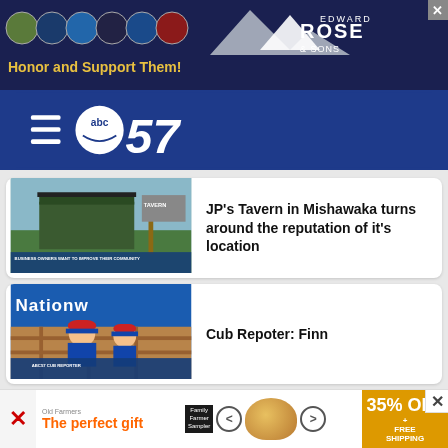[Figure (photo): Edward Rose & Sons advertisement banner with military branch badges and 'Honor and Support Them!' text]
[Figure (logo): ABC57 news station logo with hamburger menu icon on blue navigation bar]
[Figure (photo): Thumbnail image of a building/tavern for news story]
JP's Tavern in Mishawaka turns around the reputation of it's location
[Figure (photo): Thumbnail image of Nationwide event with boy in Cubs hat - ABC57 Cub Reporter]
Cub Repoter: Finn
[Figure (photo): Thumbnail image of vehicle crash scene]
Five injured in three-vehicle crash in S...
[Figure (photo): Bottom advertisement banner: The perfect gift with food bowl, 35% OFF + FREE SHIPPING offer]